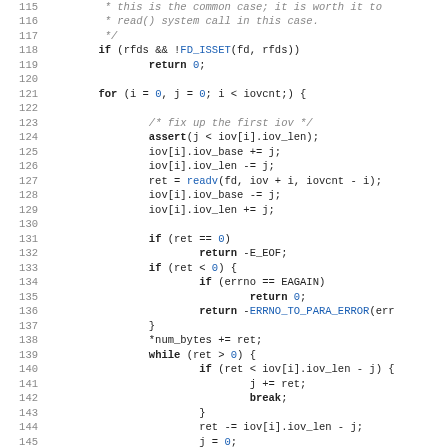[Figure (screenshot): Source code listing in C, lines 115-147, showing a function that uses select/readv with iov structures, error handling with EAGAIN and ERRNO_TO_PARA_ERROR, and a while loop iterating over iovcnt.]